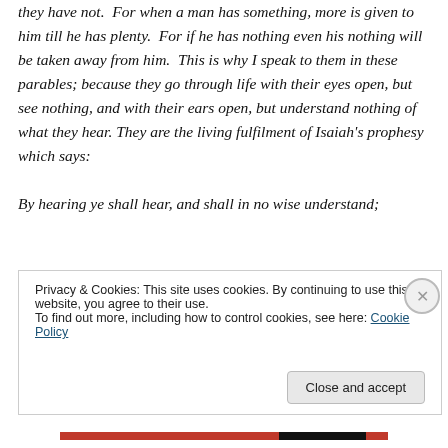understanding the secrets of the kingdom of Heaven, but they have not. For when a man has something, more is given to him till he has plenty. For if he has nothing even his nothing will be taken away from him. This is why I speak to them in these parables; because they go through life with their eyes open, but see nothing, and with their ears open, but understand nothing of what they hear. They are the living fulfilment of Isaiah's prophesy which says:

By hearing ye shall hear, and shall in no wise understand;
Privacy & Cookies: This site uses cookies. By continuing to use this website, you agree to their use.
To find out more, including how to control cookies, see here: Cookie Policy